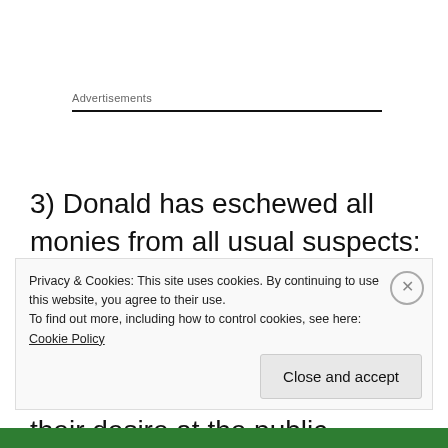Advertisements
3) Donald has eschewed all monies from all usual suspects: the lobbies, corporations, rich jerks and special interest groups that always twist our foreign and domestic policies to their desire at the public expense. Donald will continue to state this against Hillary, who is
Privacy & Cookies: This site uses cookies. By continuing to use this website, you agree to their use.
To find out more, including how to control cookies, see here: Cookie Policy
Close and accept